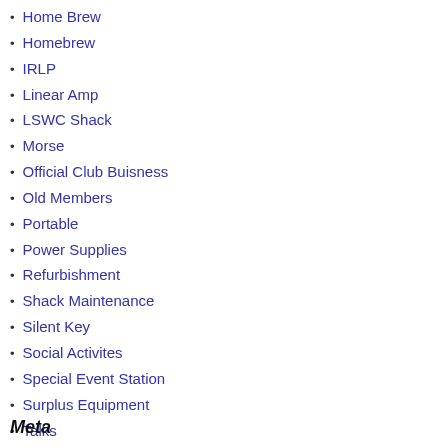Home Brew
Homebrew
IRLP
Linear Amp
LSWC Shack
Morse
Official Club Buisness
Old Members
Portable
Power Supplies
Refurbishment
Shack Maintenance
Silent Key
Social Activites
Special Event Station
Surplus Equipment
Talks
Training
Uncategorized
YOTA
Meta